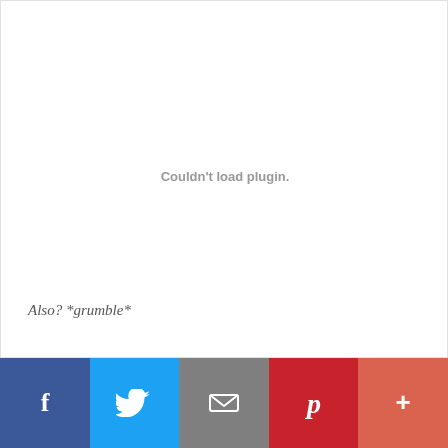Couldn't load plugin.
Also?  *grumble*
[Figure (other): Social share bar with Facebook, Twitter, Email, Pinterest, and More buttons]